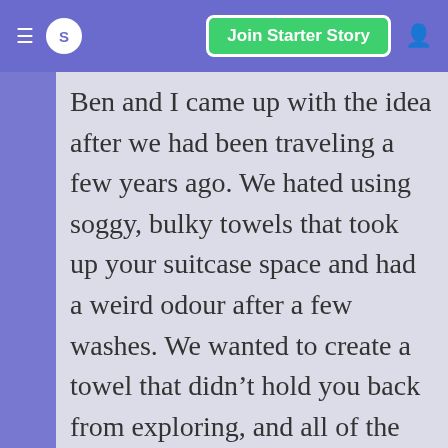S  Join Starter Story
Ben and I came up with the idea after we had been traveling a few years ago. We hated using soggy, bulky towels that took up your suitcase space and had a weird odour after a few washes. We wanted to create a towel that didn't hold you back from exploring, and all of the other quick dry towels we found were small or had dull colours. We didn't have any expertise in this space and we both worked in finance at the time, so we